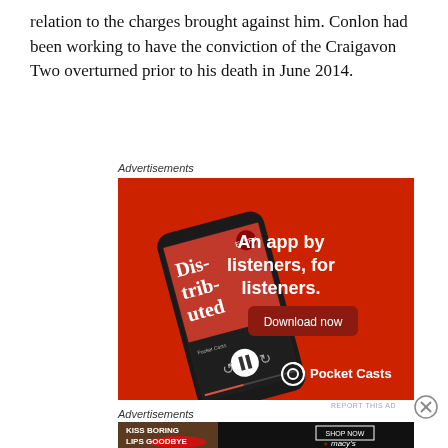relation to the charges brought against him. Conlon had been working to have the conviction of the Craigavon Two overturned prior to his death in June 2014.
Advertisements
[Figure (illustration): Pocket Casts app advertisement on red background. Shows a smartphone with the Distributed podcast app open. Text reads: An app by listeners, for listeners. Download now. Pocket Casts logo at bottom.]
Advertisements
[Figure (illustration): Macy's advertisement on dark background. Text reads: KISS BORING LIPS GOODBYE. SHOP NOW. Macy's logo with star. Shows a woman's face with red lips.]